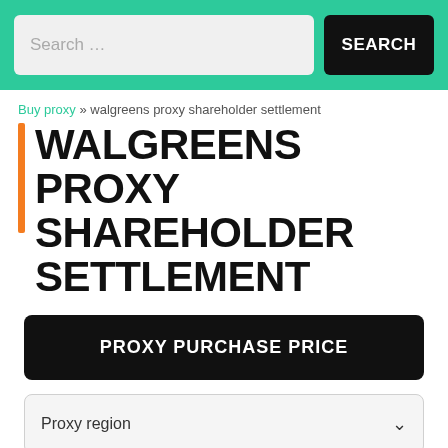Search … SEARCH
Buy proxy » walgreens proxy shareholder settlement
WALGREENS PROXY SHAREHOLDER SETTLEMENT
PROXY PURCHASE PRICE
Proxy region
Type of package (number of IPs in the package